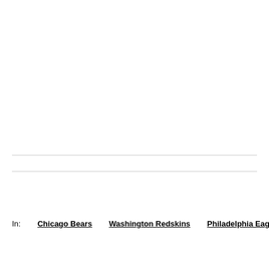In:   Chicago Bears   Washington Redskins   Philadelphia Eagles